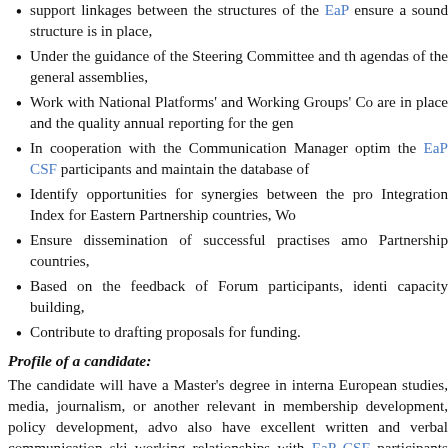support linkages between the structures of the EaP CSF ensure a sound structure is in place,
Under the guidance of the Steering Committee and the agendas of the general assemblies,
Work with National Platforms' and Working Groups' Co are in place and the quality annual reporting for the gen
In cooperation with the Communication Manager optim the EaP CSF participants and maintain the database of
Identify opportunities for synergies between the pro Integration Index for Eastern Partnership countries, Wo
Ensure dissemination of successful practises amo Partnership countries,
Based on the feedback of Forum participants, identi capacity building,
Contribute to drafting proposals for funding.
Profile of a candidate:
The candidate will have a Master's degree in interna European studies, media, journalism, or another relevant in membership development, policy development, advo also have excellent written and verbal communication ski working relationships with EaP CSF participants and ext